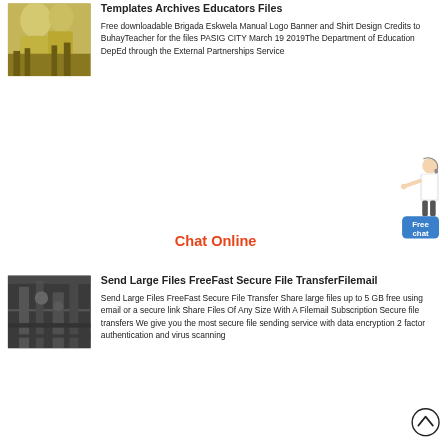[Figure (photo): Industrial equipment photo, yellowish-green silos or tanks]
Templates Archives Educators Files
Free downloadable Brigada Eskwela Manual Logo Banner and Shirt Design Credits to BuhayTeacher for the files PASIG CITY March 19 2019The Department of Education DepEd through the External Partnerships Service
Chat Online
[Figure (illustration): Woman in white jacket pointing, customer service representative with headset, beside a blue Free chat button]
[Figure (photo): Industrial interior photo with machinery and equipment]
Send Large Files FreeFast Secure File TransferFilemail
Send Large Files FreeFast Secure File Transfer Share large files up to 5 GB free using email or a secure link Share Files Of Any Size With A Filemail Subscription Secure file transfers We give you the most secure file sending service with data encryption 2 factor authentication and virus scanning
[Figure (illustration): Scroll-up arrow circle button]